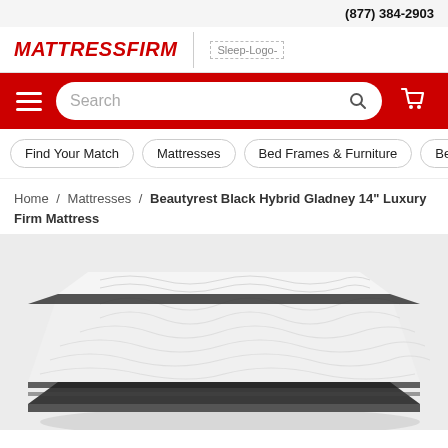(877) 384-2903
[Figure (logo): Mattress Firm logo in red italic bold uppercase text]
[Figure (logo): Sleep Logo placeholder image]
Search
Find Your Match
Mattresses
Bed Frames & Furniture
Bedd
Home / Mattresses / Beautyrest Black Hybrid Gladney 14" Luxury Firm Mattress
[Figure (photo): Beautyrest Black Hybrid Gladney 14 inch Luxury Firm Mattress product photo showing a white top with wave quilting pattern and dark gray sides, viewed from an angle]